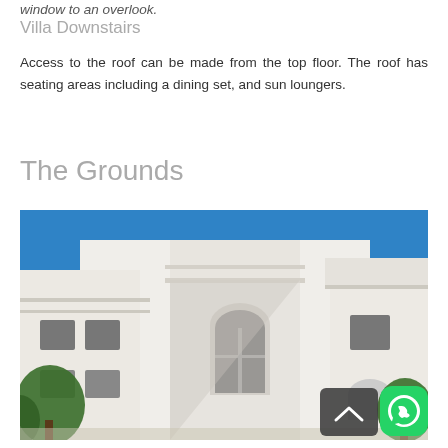window to an overlook.
Villa Downstairs
Access to the roof can be made from the top floor. The roof has seating areas including a dining set, and sun loungers.
The Grounds
[Figure (photo): Exterior view of a white multi-storey villa with arched windows against a blue sky, with green trees visible on the sides. WhatsApp button and scroll-up button overlaid in bottom-right corner.]